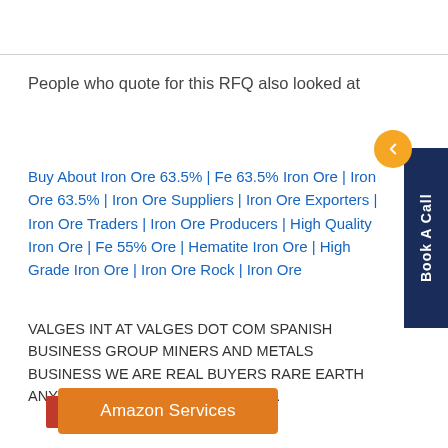People who quote for this RFQ also looked at
Buy About Iron Ore 63.5% | Fe 63.5% Iron Ore | Iron Ore 63.5% | Iron Ore Suppliers | Iron Ore Exporters | Iron Ore Traders | Iron Ore Producers | High Quality Iron Ore | Fe 55% Ore | Hematite Iron Ore | High Grade Iron Ore | Iron Ore Rock | Iron Ore
VALGES INT AT VALGES DOT COM SPANISH BUSINESS GROUP MINERS AND METALS BUSINESS WE ARE REAL BUYERS RARE EARTH ANY KIND REAL SELLERS GOLD M...
Amazon Services